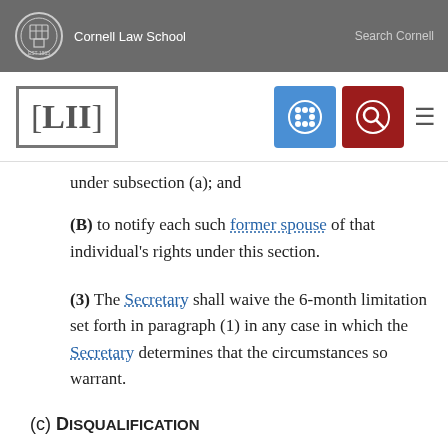Cornell Law School | Search Cornell
[Figure (logo): LII Cornell Law School logo with navigation icons]
under subsection (a); and
(B) to notify each such former spouse of that individual's rights under this section.
(3) The Secretary shall waive the 6-month limitation set forth in paragraph (1) in any case in which the Secretary determines that the circumstances so warrant.
(c) Disqualification
(1) Any former spouse who remarries